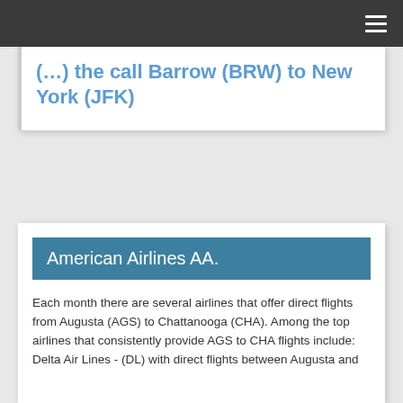(... ) the call Barrow (BRW) to New York (JFK)
American Airlines AA.
Each month there are several airlines that offer direct flights from Augusta (AGS) to Chattanooga (CHA). Among the top airlines that consistently provide AGS to CHA flights include: Delta Air Lines - (DL) with direct flights between Augusta and